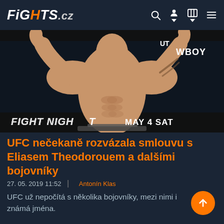FiGHTS.cz
[Figure (photo): A shirtless male UFC fighter posing with arms raised at a weigh-in event. Background shows 'FIGHT NIGHT' and 'MAY 4 SAT' and 'COWBOY' branding.]
UFC nečekaně rozvázala smlouvu s Eliasem Theodorouem a dalšími bojovníky
27. 05. 2019 11:52 | Antonín Klas
UFC už nepočítá s několika bojovníky, mezi nimi i známá jména.